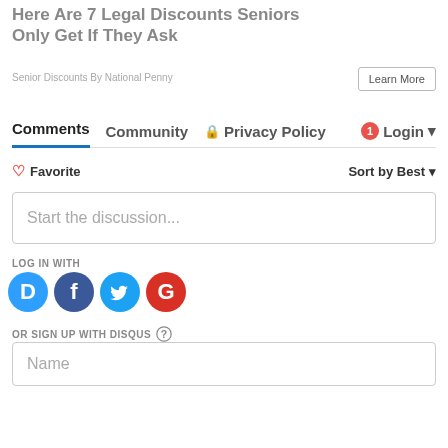Here Are 7 Legal Discounts Seniors Only Get If They Ask
Senior Discounts By National Penny
Learn More
Comments  Community  Privacy Policy  Login
Favorite  Sort by Best
Start the discussion...
LOG IN WITH
[Figure (illustration): Social login icons: Disqus (blue D), Facebook (dark blue f), Twitter (light blue bird), Google (red G)]
OR SIGN UP WITH DISQUS ?
Name